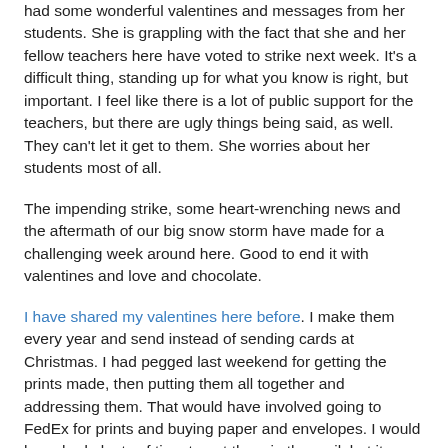had some wonderful valentines and messages from her students. She is grappling with the fact that she and her fellow teachers here have voted to strike next week. It's a difficult thing, standing up for what you know is right, but important. I feel like there is a lot of public support for the teachers, but there are ugly things being said, as well. They can't let it get to them. She worries about her students most of all.
The impending strike, some heart-wrenching news and the aftermath of our big snow storm have made for a challenging week around here. Good to end it with valentines and love and chocolate.
I have shared my valentines here before. I make them every year and send instead of sending cards at Christmas. I had pegged last weekend for getting the prints made, then putting them all together and addressing them. That would have involved going to FedEx for prints and buying paper and envelopes. I would have had plenty of time to get them in the mail, but it snowed and snowed and snowed last weekend and we didn't leave the house and the valentines